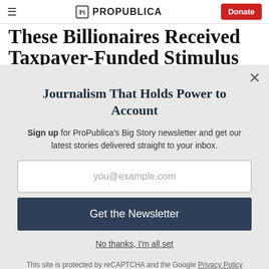ProPublica — Donate
These Billionaires Received Taxpayer-Funded Stimulus
Journalism That Holds Power to Account
Sign up for ProPublica's Big Story newsletter and get our latest stories delivered straight to your inbox.
you@example.com
Get the Newsletter
No thanks, I'm all set
This site is protected by reCAPTCHA and the Google Privacy Policy and Terms of Service apply.